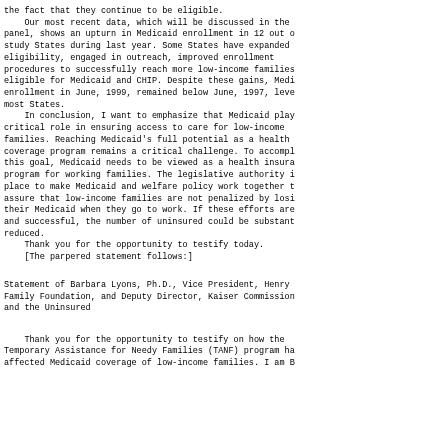the fact that they continue to be eligible.
    Our most recent data, which will be discussed in the panel, shows an upturn in Medicaid enrollment in 12 out of study States during last year. Some States have expanded eligibility, engaged in outreach, improved enrollment procedures to successfully reach more low-income families eligible for Medicaid and CHIP. Despite these gains, Medicaid enrollment in June, 1999, remained below June, 1997, levels in most States.
    In conclusion, I want to emphasize that Medicaid plays a critical role in ensuring access to care for low-income families. Reaching Medicaid's full potential as a health coverage program remains a critical challenge. To accomplish this goal, Medicaid needs to be viewed as a health insurance program for working families. The legislative authority is in place to make Medicaid and welfare policy work together to assure that low-income families are not penalized by losing their Medicaid when they go to work. If these efforts are and successful, the number of uninsured could be substantially reduced.
    Thank you for the opportunity to testify today.
    [The parpered statement follows:]
Statement of Barbara Lyons, Ph.D., Vice President, Henry J. Kaiser Family Foundation, and Deputy Director, Kaiser Commission on Medicaid and the Uninsured
Thank you for the opportunity to testify on how the Temporary Assistance for Needy Families (TANF) program has affected Medicaid coverage of low-income families. I am B